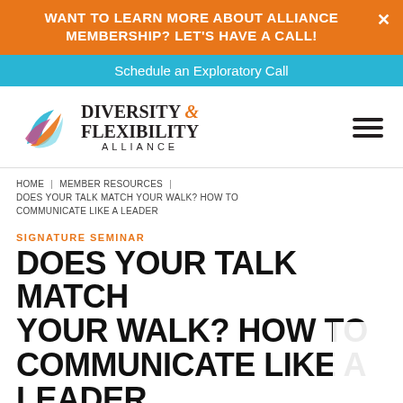WANT TO LEARN MORE ABOUT ALLIANCE MEMBERSHIP? LET'S HAVE A CALL!
Schedule an Exploratory Call
[Figure (logo): Diversity & Flexibility Alliance logo with colorful swoosh icon]
HOME | MEMBER RESOURCES | DOES YOUR TALK MATCH YOUR WALK? HOW TO COMMUNICATE LIKE A LEADER
SIGNATURE SEMINAR
DOES YOUR TALK MATCH YOUR WALK? HOW TO COMMUNICATE LIKE A LEADER